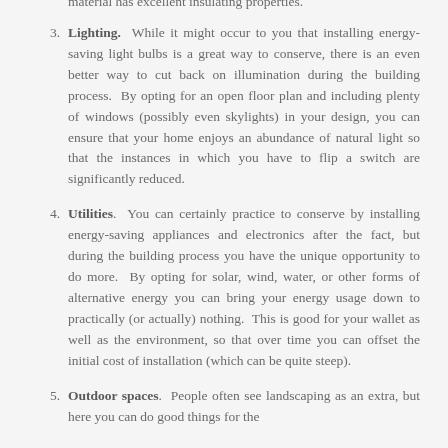Lighting. While it might occur to you that installing energy-saving light bulbs is a great way to conserve, there is an even better way to cut back on illumination during the building process. By opting for an open floor plan and including plenty of windows (possibly even skylights) in your design, you can ensure that your home enjoys an abundance of natural light so that the instances in which you have to flip a switch are significantly reduced.
Utilities. You can certainly practice to conserve by installing energy-saving appliances and electronics after the fact, but during the building process you have the unique opportunity to do more. By opting for solar, wind, water, or other forms of alternative energy you can bring your energy usage down to practically (or actually) nothing. This is good for your wallet as well as the environment, so that over time you can offset the initial cost of installation (which can be quite steep).
Outdoor spaces. People often see landscaping as an extra, but here you can do good things for the